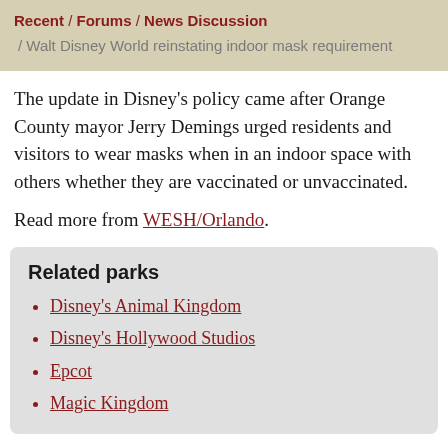Recent / Forums / News Discussion / Walt Disney World reinstating indoor mask requirement
The update in Disney's policy came after Orange County mayor Jerry Demings urged residents and visitors to wear masks when in an indoor space with others whether they are vaccinated or unvaccinated.
Read more from WESH/Orlando.
Related parks
Disney's Animal Kingdom
Disney's Hollywood Studios
Epcot
Magic Kingdom